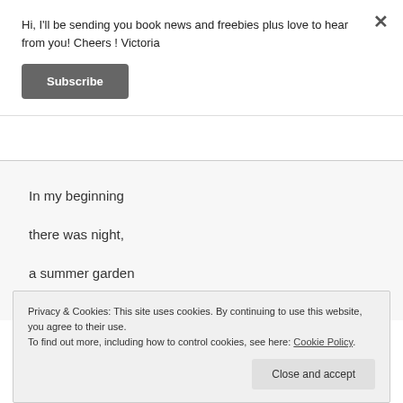Hi, I'll be sending you book news and freebies plus love to hear from you! Cheers ! Victoria
Subscribe
In my beginning
there was night,
a summer garden
Privacy & Cookies: This site uses cookies. By continuing to use this website, you agree to their use.
To find out more, including how to control cookies, see here: Cookie Policy
Close and accept